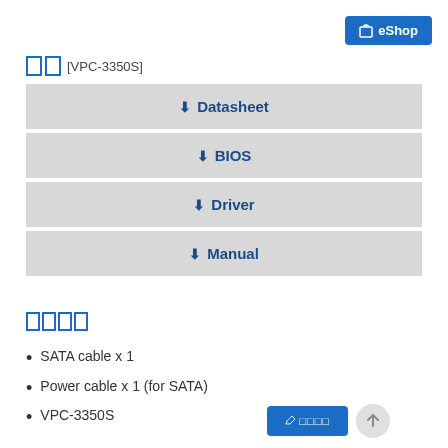eShop
□□ [VPC-3350S]
↓ Datasheet
↓ BIOS
↓ Driver
↓ Manual
□□□□
SATA cable x 1
Power cable x 1 (for SATA)
VPC-3350S